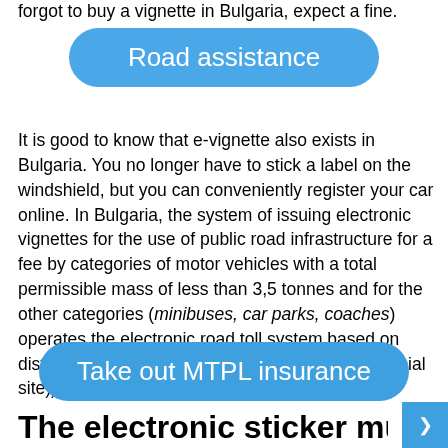forgot to buy a vignette in Bulgaria, expect a fine.
[Figure (other): Blue rounded button labeled 'Road assistance']
It is good to know that e-vignette also exists in Bulgaria. You no longer have to stick a label on the windshield, but you can conveniently register your car online. In Bulgaria, the system of issuing electronic vignettes for the use of public road infrastructure for a fee by categories of motor vehicles with a total permissible mass of less than 3,5 tonnes and for the other categories (minibuses, car parks, coaches) operates the electronic road toll system based on distance traveled (type e-Toll) (www.bgtoll.bg (official site)).
[Figure (other): Blue rounded button labeled 'Take out MTPL insurance']
The electronic sticker must be